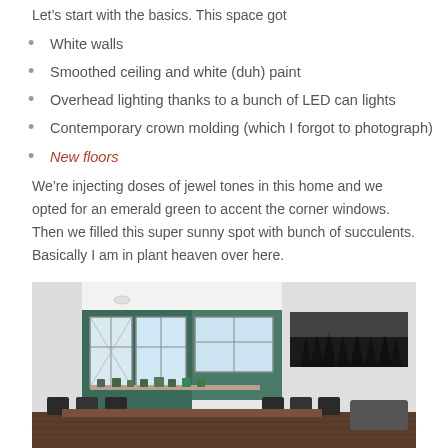Let's start with the basics. This space got
White walls
Smoothed ceiling and white (duh) paint
Overhead lighting thanks to a bunch of LED can lights
Contemporary crown molding (which I forgot to photograph)
New floors
We’re injecting doses of jewel tones in this home and we opted for an emerald green to accent the corner windows. Then we filled this super sunny spot with bunch of succulents. Basically I am in plant heaven over here.
[Figure (photo): Interior room photo showing corner bay windows with emerald green accent wall, a long panoramic forest artwork on the right wall, succulents on the windowsill, and dark dining chairs around a table.]